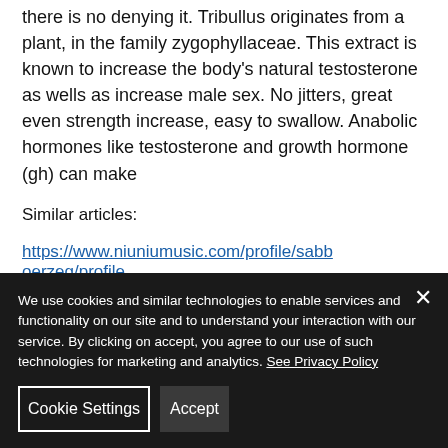there is no denying it. Tribullus originates from a plant, in the family zygophyllaceae. This extract is known to increase the body's natural testosterone as wells as increase male sex. No jitters, great even strength increase, easy to swallow. Anabolic hormones like testosterone and growth hormone (gh) can make
Similar articles:
https://www.niuniumusic.com/profile/sabboerzeg/profile
We use cookies and similar technologies to enable services and functionality on our site and to understand your interaction with our service. By clicking on accept, you agree to our use of such technologies for marketing and analytics. See Privacy Policy